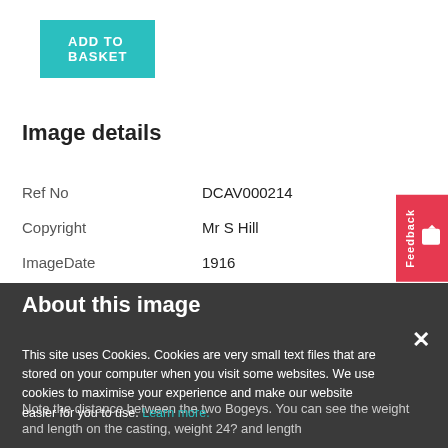ADD TO BASKET
Image details
| Ref No | DCAV000214 |
| Copyright | Mr S Hill |
| ImageDate | 1916 |
| Location | Main Road (Pye Bridge Industrial Estate) |
| Town | Pye_Bridge |
About this image
Note the distance between the two Bogeys. You can see the weight and length on the casting, weight 24? and length
This site uses Cookies. Cookies are very small text files that are stored on your computer when you visit some websites. We use cookies to maximise your experience and make our website easier for you to use. Learn more.